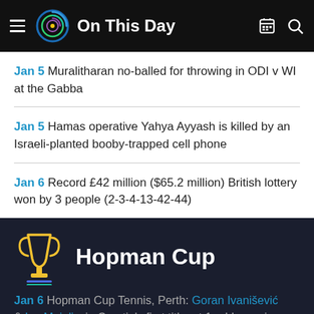On This Day
Jan 5 Muralitharan no-balled for throwing in ODI v WI at the Gabba
Jan 5 Hamas operative Yahya Ayyash is killed by an Israeli-planted booby-trapped cell phone
Jan 6 Record £42 million ($65.2 million) British lottery won by 3 people (2-3-4-13-42-44)
Hopman Cup
Jan 6 Hopman Cup Tennis, Perth: Goran Ivanišević & Iva Majoli win Croatia's first title; at 1 rubber apiece